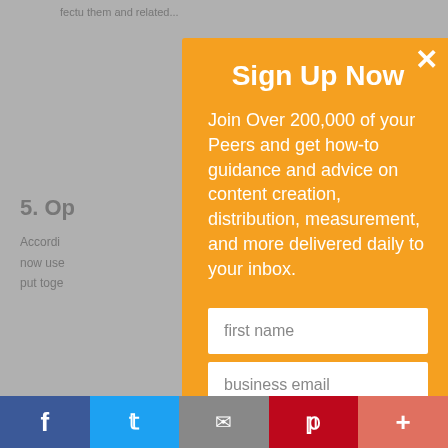[Figure (screenshot): Background webpage content (greyed out) visible behind a modal popup dialog]
Sign Up Now
Join Over 200,000 of your Peers and get how-to guidance and advice on content creation, distribution, measurement, and more delivered daily to your inbox.
first name
business email
Sign Up Now
[Figure (infographic): Social sharing bar at bottom with Facebook, Twitter, email, Pinterest, and plus (+) icons]